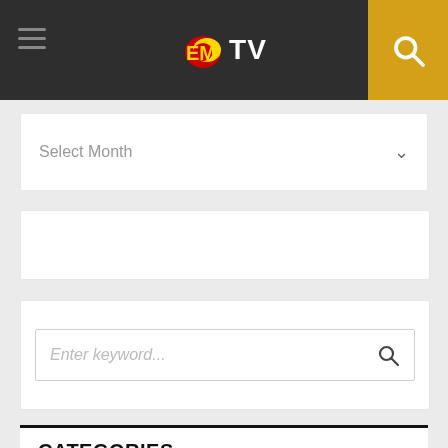EMTV header navigation bar
Select Month
[Figure (screenshot): Empty white widget block]
Enter keyword...
CATEGORIES
Select Category